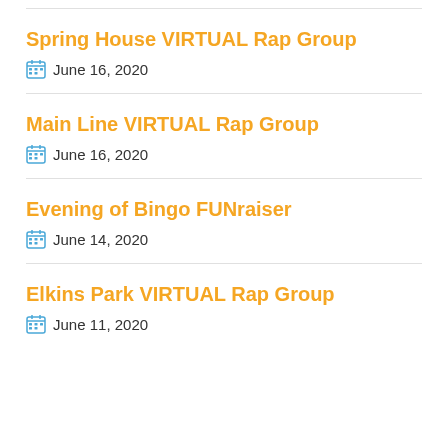Spring House VIRTUAL Rap Group — June 16, 2020
Main Line VIRTUAL Rap Group — June 16, 2020
Evening of Bingo FUNraiser — June 14, 2020
Elkins Park VIRTUAL Rap Group — June 11, 2020